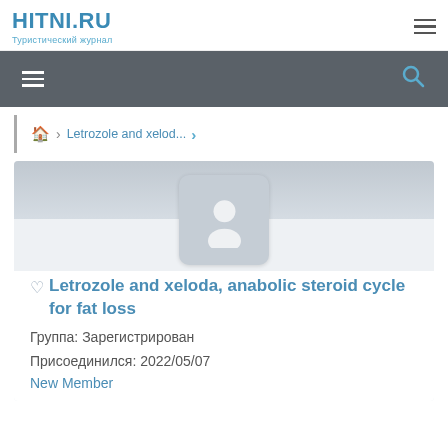HITNI.RU — Туристический журнал
Letrozole and xelod... (breadcrumb navigation)
[Figure (photo): User profile avatar placeholder image — grey rounded square with white silhouette person icon on a light grey banner background]
Letrozole and xeloda, anabolic steroid cycle for fat loss
Группа: Зарегистрирован
Присоединился: 2022/05/07
New Member